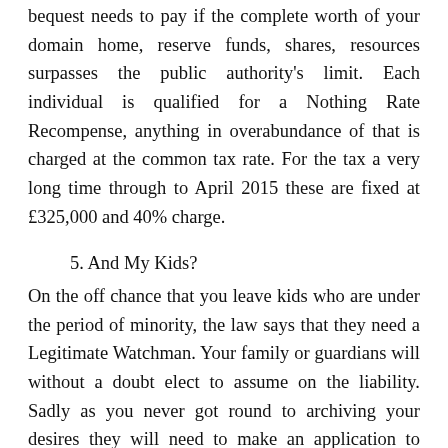Also called Demise Duty, this is what your or actually your bequest needs to pay if the complete worth of your domain home, reserve funds, shares, resources surpasses the public authority's limit. Each individual is qualified for a Nothing Rate Recompense, anything in overabundance of that is charged at the common tax rate. For the tax a very long time through to April 2015 these are fixed at £325,000 and 40% charge.
5. And My Kids?
On the off chance that you leave kids who are under the period of minority, the law says that they need a Legitimate Watchman. Your family or guardians will without a doubt elect to assume on the liability. Sadly as you never got round to archiving your desires they will need to make an application to court – it is not ensured that they will find success.